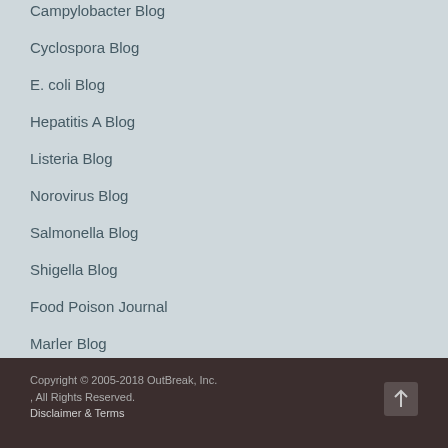Campylobacter Blog
Cyclospora Blog
E. coli Blog
Hepatitis A Blog
Listeria Blog
Norovirus Blog
Salmonella Blog
Shigella Blog
Food Poison Journal
Marler Blog
Copyright © 2005-2018 OutBreak, Inc. , All Rights Reserved. Disclaimer & Terms